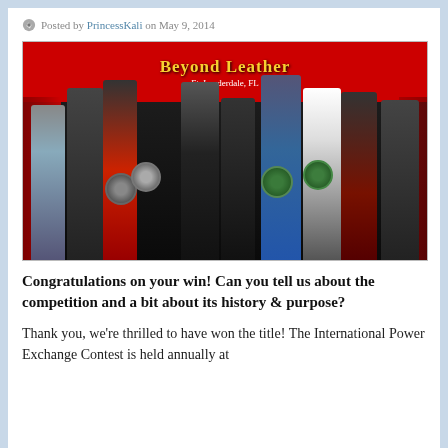Posted by PrincessKali on May 9, 2014
[Figure (photo): Group photo of approximately 10 people standing in front of a 'Beyond Leather' red banner backdrop at what appears to be a leather/kink competition event in Ft. Lauderdale, FL. Several people are holding award plaques/trophies. People are dressed in leather, formal, and festive attire.]
Congratulations on your win! Can you tell us about the competition and a bit about its history & purpose?
Thank you, we're thrilled to have won the title! The International Power Exchange Contest is held annually at